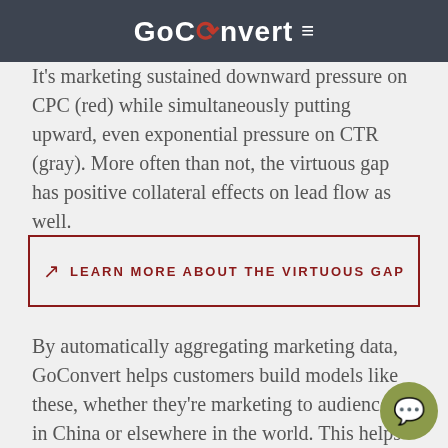GoConvert ≡
It's marketing sustained downward pressure on CPC (red) while simultaneously putting upward, even exponential pressure on CTR (gray). More often than not, the virtuous gap has positive collateral effects on lead flow as well.
↗ LEARN MORE ABOUT THE VIRTUOUS GAP
By automatically aggregating marketing data, GoConvert helps customers build models like these, whether they're marketing to audiences in China or elsewhere in the world. This helps our customers powerful trend models, reveal actionable insights, maximize the ROI of marketing spending.